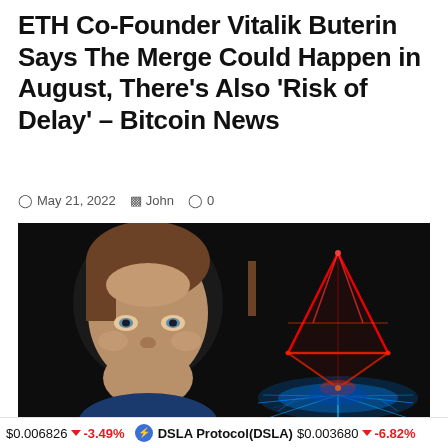ETH Co-Founder Vitalik Buterin Says The Merge Could Happen in August, There's Also 'Risk of Delay' – Bitcoin News
May 21, 2022  John  0
[Figure (photo): Photo of Vitalik Buterin on the left side with a glowing red and blue Ethereum diamond logo on a dark background on the right side]
$0.006826  -3.49%   DSLA Protocol(DSLA)  $0.003680  -6.82%